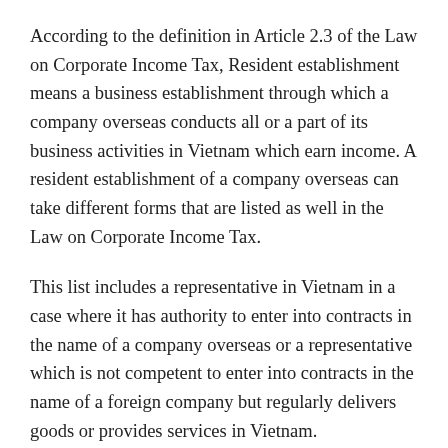According to the definition in Article 2.3 of the Law on Corporate Income Tax, Resident establishment means a business establishment through which a company overseas conducts all or a part of its business activities in Vietnam which earn income. A resident establishment of a company overseas can take different forms that are listed as well in the Law on Corporate Income Tax.
This list includes a representative in Vietnam in a case where it has authority to enter into contracts in the name of a company overseas or a representative which is not competent to enter into contracts in the name of a foreign company but regularly delivers goods or provides services in Vietnam.
This very broad reference might also include principals with assets as named above. These elements are not likely to form the risk of a permanent establishment in